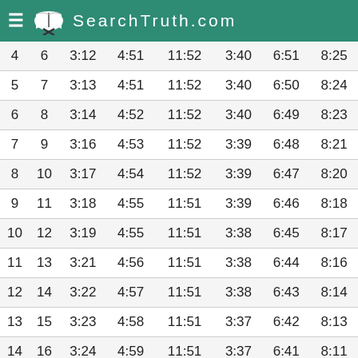SearchTruth.com
| 4 | 6 | 3:12 | 4:51 | 11:52 | 3:40 | 6:51 | 8:25 |
| 5 | 7 | 3:13 | 4:51 | 11:52 | 3:40 | 6:50 | 8:24 |
| 6 | 8 | 3:14 | 4:52 | 11:52 | 3:40 | 6:49 | 8:23 |
| 7 | 9 | 3:16 | 4:53 | 11:52 | 3:39 | 6:48 | 8:21 |
| 8 | 10 | 3:17 | 4:54 | 11:52 | 3:39 | 6:47 | 8:20 |
| 9 | 11 | 3:18 | 4:55 | 11:51 | 3:39 | 6:46 | 8:18 |
| 10 | 12 | 3:19 | 4:55 | 11:51 | 3:38 | 6:45 | 8:17 |
| 11 | 13 | 3:21 | 4:56 | 11:51 | 3:38 | 6:44 | 8:16 |
| 12 | 14 | 3:22 | 4:57 | 11:51 | 3:38 | 6:43 | 8:14 |
| 13 | 15 | 3:23 | 4:58 | 11:51 | 3:37 | 6:42 | 8:13 |
| 14 | 16 | 3:24 | 4:59 | 11:51 | 3:37 | 6:41 | 8:11 |